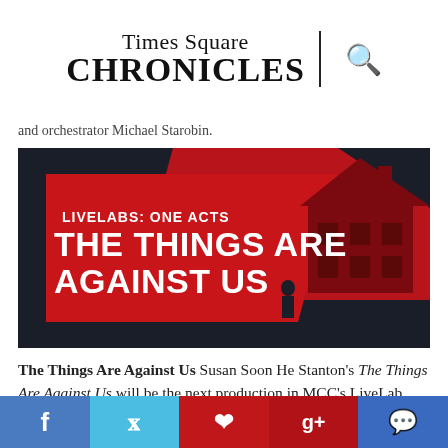Times Square CHRONICLES
and orchestrator Michael Starobin.
[Figure (illustration): Promotional banner for LiveLabs: One Acts – The Things Are Against Us. Red and dark background with bold white text and a silhouette of a house on the right.]
The Things Are Against Us Susan Soon He Stanton's The Things Are Against Us will be the next production in MCC's LiveLab one-act digital reading series. Ellie Heyman directs the cast, which includes Juan Castano, Emily Davis, Susannah Flood, Babak
f  t  p  g+  chat